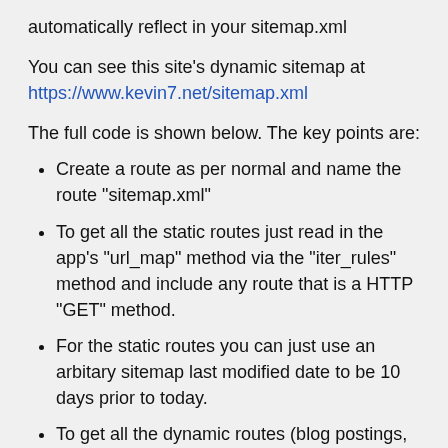automatically reflect in your sitemap.xml
You can see this site's dynamic sitemap at https://www.kevin7.net/sitemap.xml
The full code is shown below. The key points are:
Create a route as per normal and name the route "sitemap.xml"
To get all the static routes just read in the app's "url_map" method via the "iter_rules" method and include any route that is a HTTP "GET" method.
For the static routes you can just use an arbitary sitemap last modified date to be 10 days prior to today.
To get all the dynamic routes (blog postings, etc) you will need to connect to your database, read in each blog posting, and manually build your routes. If your blog post has a timestamp in the database, then use